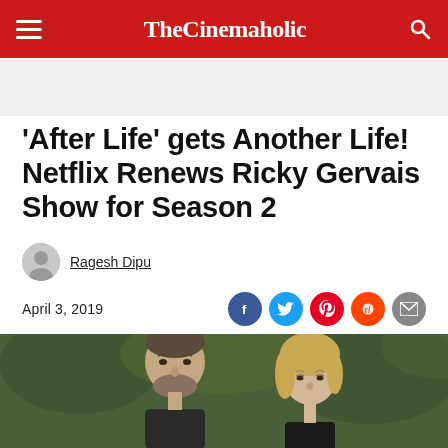TheCinemaholic
'After Life' gets Another Life! Netflix Renews Ricky Gervais Show for Season 2
Ragesh Dipu
April 3, 2019
[Figure (photo): Two people (a man with a beard and a woman with blonde hair) outdoors with a blurred green background, from the Netflix show After Life]